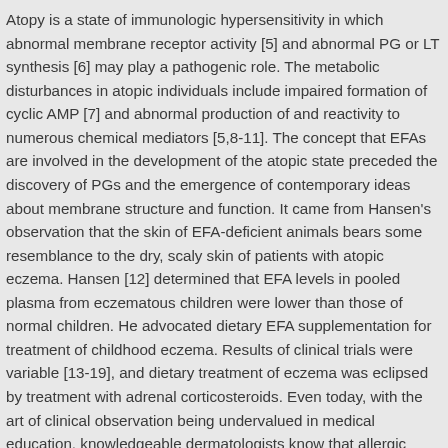Atopy is a state of immunologic hypersensitivity in which abnormal membrane receptor activity [5] and abnormal PG or LT synthesis [6] may play a pathogenic role. The metabolic disturbances in atopic individuals include impaired formation of cyclic AMP [7] and abnormal production of and reactivity to numerous chemical mediators [5,8-11]. The concept that EFAs are involved in the development of the atopic state preceded the discovery of PGs and the emergence of contemporary ideas about membrane structure and function. It came from Hansen's observation that the skin of EFA-deficient animals bears some resemblance to the dry, scaly skin of patients with atopic eczema. Hansen [12] determined that EFA levels in pooled plasma from eczematous children were lower than those of normal children. He advocated dietary EFA supplementation for treatment of childhood eczema. Results of clinical trials were variable [13-19], and dietary treatment of eczema was eclipsed by treatment with adrenal corticosteroids. Even today, with the art of clinical observation being undervalued in medical education, knowledgeable dermatologists know that allergic individuals often have dry skin and follicular keratoses, another manifestation of human EFA deficiency [20].